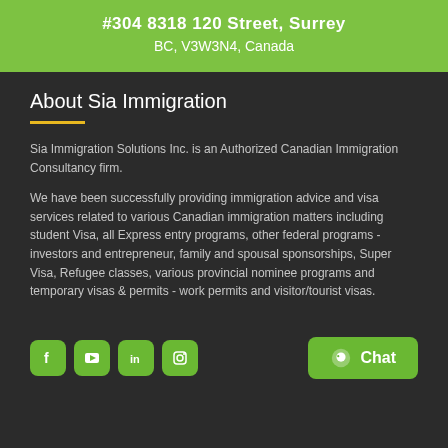#304 8318 120 Street, Surrey BC, V3W3N4, Canada
About Sia Immigration
Sia Immigration Solutions Inc. is an Authorized Canadian Immigration Consultancy firm.
We have been successfully providing immigration advice and visa services related to various Canadian immigration matters including student Visa, all Express entry programs, other federal programs - investors and entrepreneur, family and spousal sponsorships, Super Visa, Refugee classes, various provincial nominee programs and temporary visas & permits - work permits and visitor/tourist visas.
[Figure (infographic): Social media icons: Facebook, YouTube, LinkedIn, Instagram (green rounded square buttons) and a green Chat button with chat icon]